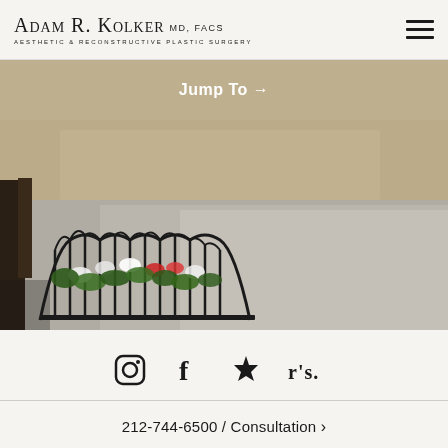Adam R. Kolker MD, FACS — Aesthetic & Reconstructive Plastic Surgery
Jump To →
[Figure (photo): Outdoor street scene showing an ornamental iron planter filled with flowers and greenery near a tree on a sidewalk or plaza, with a blurred indoor corridor visible in the upper background.]
[Figure (infographic): Social media icons row: Instagram, Facebook, Yelp, RealSelf]
212-744-6500 / Consultation ›